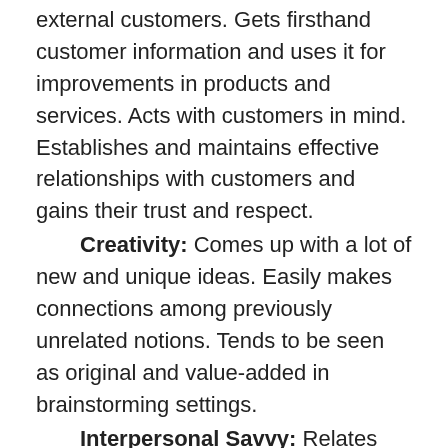external customers. Gets firsthand customer information and uses it for improvements in products and services. Acts with customers in mind. Establishes and maintains effective relationships with customers and gains their trust and respect.
Creativity: Comes up with a lot of new and unique ideas. Easily makes connections among previously unrelated notions. Tends to be seen as original and value-added in brainstorming settings.
Interpersonal Savvy: Relates well to all kind of people up down and sideways. Inside and outside the organization. Builds rapport. Builds constructive and effective relationships. Uses diplomacy and tact. Can diffuse even high-tension situations comfortably.
Learning on The Fly: Learns quickly when facing new problems. A relentless and versatile learner.